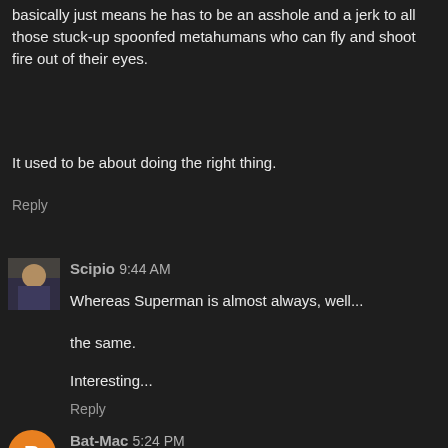basically just means he has to be an asshole and a jerk to all those stuck-up spoonfed metahumans who can fly and shoot fire out of their eyes.

It used to be about doing the right thing.
Reply
Scipio 9:44 AM
Whereas Superman is almost always, well...

the same.

Interesting...
Reply
Bat-Mac 5:24 PM
What's happened to the Bat is a natural progression. If Batman did exist, surrounded by idiots like Green Arrow, he